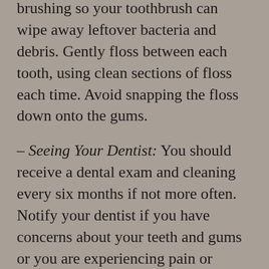brushing so your toothbrush can wipe away leftover bacteria and debris. Gently floss between each tooth, using clean sections of floss each time. Avoid snapping the floss down onto the gums.
– Seeing Your Dentist: You should receive a dental exam and cleaning every six months if not more often. Notify your dentist if you have concerns about your teeth and gums or you are experiencing pain or discomfort.
– Healthy Diet: Consume a regular diet of healthy foods and liquids. More sugar in your diet tends to lead to more lingering and sticky bacteria. Rinse your mouth with water after eating and drinking other beverages.